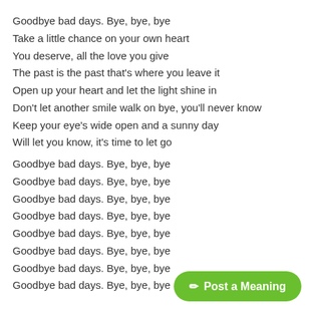Goodbye bad days. Bye, bye, bye
Take a little chance on your own heart
You deserve, all the love you give
The past is the past that's where you leave it
Open up your heart and let the light shine in
Don't let another smile walk on bye, you'll never know
Keep your eye's wide open and a sunny day
Will let you know, it's time to let go

Goodbye bad days. Bye, bye, bye
Goodbye bad days. Bye, bye, bye
Goodbye bad days. Bye, bye, bye
Goodbye bad days. Bye, bye, bye
Goodbye bad days. Bye, bye, bye
Goodbye bad days. Bye, bye, bye
Goodbye bad days. Bye, bye, bye
Goodbye bad days. Bye, bye, bye
✏ Post a Meaning